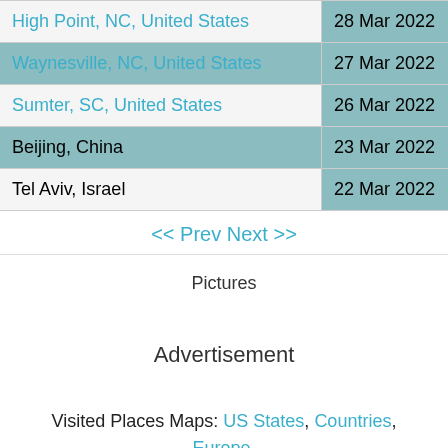| Location | Date |  |
| --- | --- | --- |
| High Point, NC, United States | 28 Mar 2022 | 1 |
| Waynesville, NC, United States | 27 Mar 2022 | 2 |
| Sumter, SC, United States | 26 Mar 2022 | 1 |
| Beijing, China | 23 Mar 2022 | 2 |
| Tel Aviv, Israel | 22 Mar 2022 | 6 |
<< Prev Next >>
Pictures
Advertisement
Visited Places Maps: US States, Countries, Europe, Canadian Provinces - More coming soon!
Funny Pictures · Timeline Covers · Memes · Correlatr
FAQ · Terms & Copyright © 2006-2022 Funky Llama Productions, LLC. All Rights Reserved. Privacy · Contact Us